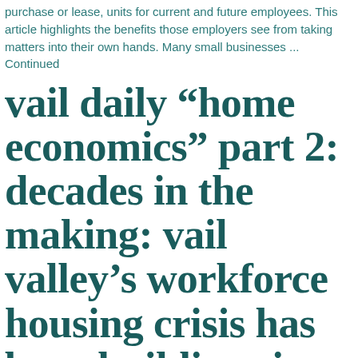purchase or lease, units for current and future employees. This article highlights the benefits those employers see from taking matters into their own hands. Many small businesses ... Continued
vail daily &#8220;home economics&#8221; part 2: decades in the making: vail valley’s workforce housing crisis has been building since the beginning